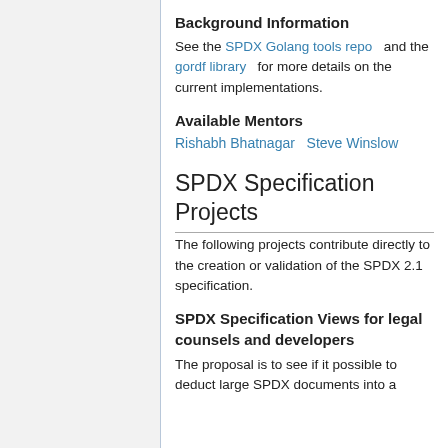Background Information
See the SPDX Golang tools repo and the gordf library for more details on the current implementations.
Available Mentors
Rishabh Bhatnagar   Steve Winslow
SPDX Specification Projects
The following projects contribute directly to the creation or validation of the SPDX 2.1 specification.
SPDX Specification Views for legal counsels and developers
The proposal is to see if it possible to deduct large SPDX documents into a